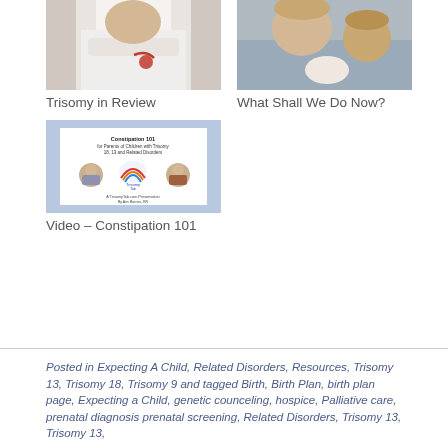[Figure (photo): Doctor in white coat with arms crossed holding a red stethoscope]
Trisomy in Review
[Figure (photo): Two young boys, one kissing or leaning toward a baby]
What Shall We Do Now?
[Figure (screenshot): Video thumbnail for Constipation 101 for Parents of Children with Trisomy 18, 13 and Related Disorders, a TrisomyTab.com presentation by Ann Barnes, RN, Terra Kriticos, program host]
Video – Constipation 101
Posted in Expecting A Child, Related Disorders, Resources, Trisomy 13, Trisomy 18, Trisomy 9 and tagged Birth, Birth Plan, birth plan page, Expecting a Child, genetic counceling, hospice, Palliative care, prenatal diagnosis  prenatal screening, Related Disorders, Trisomy 13, Trisomy 13,